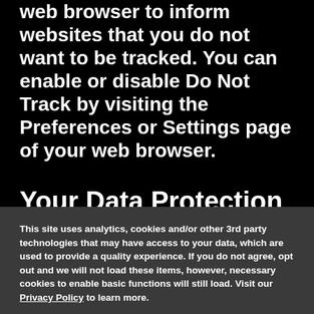web browser to inform websites that you do not want to be tracked. You can enable or disable Do Not Track by visiting the Preferences or Settings page of your web browser.
Your Data Protection
This site uses analytics, cookies and/or other 3rd party technologies that may have access to your data, which are used to provide a quality experience. If you do not agree, opt out and we will not load these items, however, necessary cookies to enable basic functions will still load. Visit our Privacy Policy to learn more.